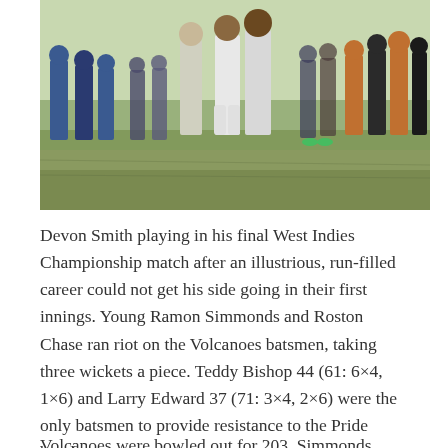[Figure (photo): Group of cricketers and officials on a cricket ground, shaking hands. Players in cricket whites, others in casual and team clothing. Appears to be a ceremony, likely Devon Smith's final West Indies Championship match.]
Devon Smith playing in his final West Indies Championship match after an illustrious, run-filled career could not get his side going in their first innings. Young Ramon Simmonds and Roston Chase ran riot on the Volcanoes batsmen, taking three wickets a piece. Teddy Bishop 44 (61: 6×4, 1×6) and Larry Edward 37 (71: 3×4, 2×6) were the only batsmen to provide resistance to the Pride bowlers.
Volcanoes were bowled out for 203. Simmonds ended